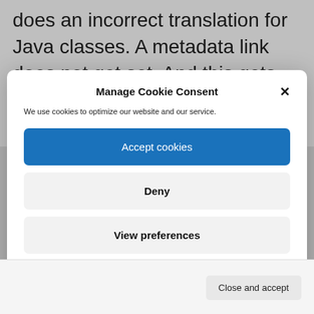does an incorrect translation for Java classes. A metadata link does not get set. And this gets revealed only later when an upgrade happens.
Manage Cookie Consent
We use cookies to optimize our website and our service.
Accept cookies
Deny
View preferences
Cookie Policy   Privacy Statement   About
Close and accept